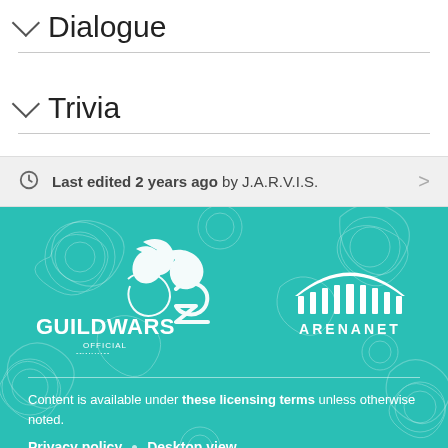Dialogue
Trivia
Last edited 2 years ago by J.A.R.V.I.S.
[Figure (logo): Guild Wars 2 Official Wiki logo and ArenaNet logo on teal decorative background]
Content is available under these licensing terms unless otherwise noted.
Privacy policy · Desktop view